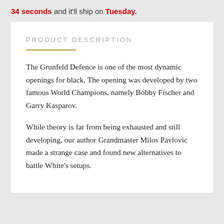34 seconds and it'll ship on Tuesday.
PRODUCT DESCRIPTION
The Grunfeld Defence is one of the most dynamic openings for black. The opening was developed by two famous World Champions, namely Bobby Fischer and Garry Kasparov.
While theory is far from being exhausted and still developing, our author Grandmaster Milos Pavlovic made a strange case and found new alternatives to battle White's setups.